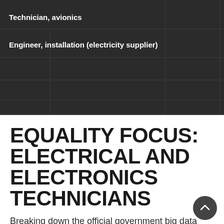Technician, avionics
Engineer, installation (electricity supplier)
EQUALITY FOCUS: ELECTRICAL AND ELECTRONICS TECHNICIANS
Breaking down the official government big data sources by gender, age and region. Hours and pay data based on full time equivalent roles.